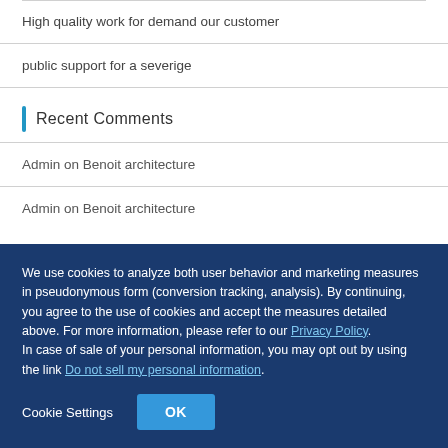High quality work for demand our customer
public support for a severige
Recent Comments
Admin on Benoit architecture
Admin on Benoit architecture
We use cookies to analyze both user behavior and marketing measures in pseudonymous form (conversion tracking, analysis). By continuing, you agree to the use of cookies and accept the measures detailed above. For more information, please refer to our Privacy Policy. In case of sale of your personal information, you may opt out by using the link Do not sell my personal information.